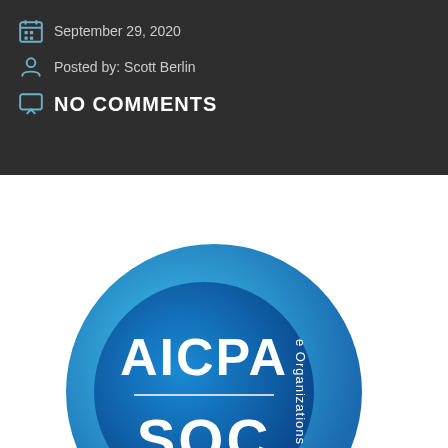September 29, 2020
Posted by: Scott Berlin
NO COMMENTS
[Figure (logo): AICPA SOC certification badge - a circular blue gradient badge with 'AICPA' text on top, a horizontal line, 'SOC' text below, and 'e Organizations' text on the right side in vertical orientation]